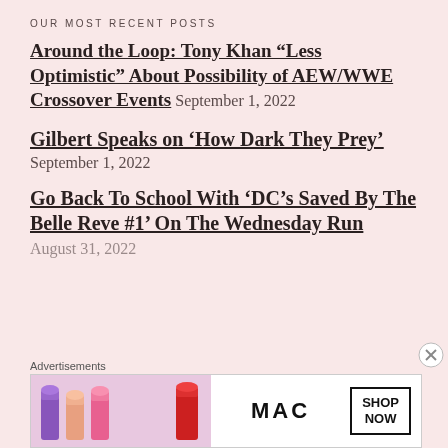OUR MOST RECENT POSTS
Around the Loop: Tony Khan “Less Optimistic” About Possibility of AEW/WWE Crossover Events September 1, 2022
Gilbert Speaks on ‘How Dark They Prey’ September 1, 2022
Go Back To School With ‘DC’s Saved By The Belle Reve #1’ On The Wednesday Run August 31, 2022
Advertisements
[Figure (photo): MAC cosmetics advertisement banner showing lipsticks with MAC logo and SHOP NOW button]